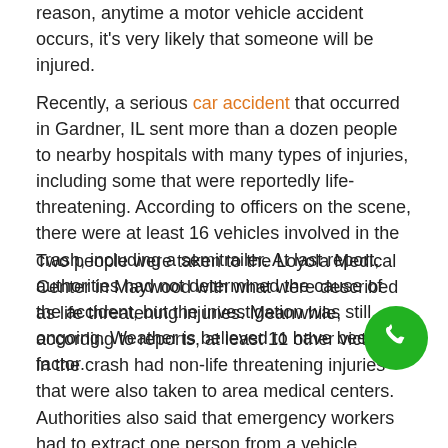reason, anytime a motor vehicle accident occurs, it's very likely that someone will be injured.
Recently, a serious car accident that occurred in Gardner, IL sent more than a dozen people to nearby hospitals with many types of injuries, including some that were reportedly life-threatening. According to officers on the scene, there were at least 16 vehicles involved in the crash, including a semitrailer. At last report, authorities had not determined the cause of the accident, but the investigation was still ongoing. Weather is believed to have been a factor.
Two people were taken to the Loyola Medical Center in Maywood with what were described as life threatening injuries. Meanwhile, according to reports, at least 11 other victims in the crash had non-life threatening injuries that were also taken to area medical centers. Authorities also said that emergency workers had to extract one person from a vehicle.